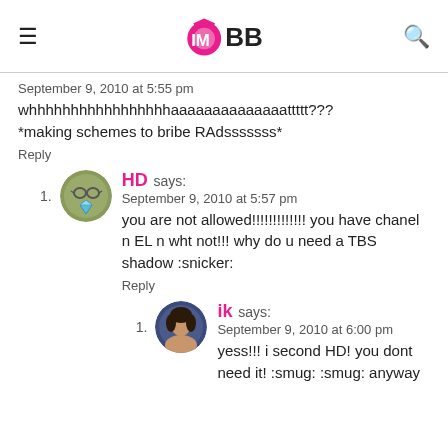IMBB
September 9, 2010 at 5:55 pm
whhhhhhhhhhhhhhhhhaaaaaaaaaaaaaattttt??? *making schemes to bribe RAdsssssss*
Reply
HD says:
September 9, 2010 at 5:57 pm
you are not allowed!!!!!!!!!!!!! you have chanel n EL n wht not!!! why do u need a TBS shadow :snicker:
Reply
ik says:
September 9, 2010 at 6:00 pm
yess!!! i second HD! you dont need it! :smug: :smug: anyway